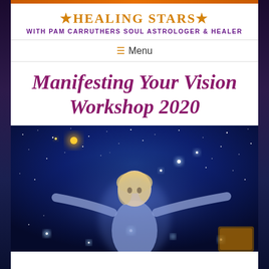★Healing Stars★ with Pam Carruthers Soul Astrologer & Healer
≡ Menu
Manifesting Your Vision Workshop 2020
[Figure (photo): A young blonde child with arms outstretched against a dark starry cosmic sky background with sparkling stars and magical light effects]